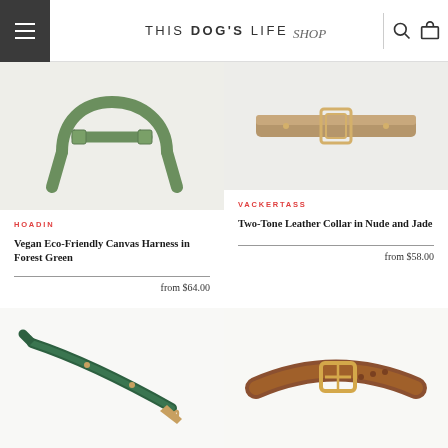THIS DOG'S LIFE shop
[Figure (photo): Green vegan canvas dog harness on white/light grey background]
[Figure (photo): Two-tone leather dog collar in nude and jade on light grey background]
HOADIN
Vegan Eco-Friendly Canvas Harness in Forest Green
from $64.00
VACKERTASS
Two-Tone Leather Collar in Nude and Jade
from $58.00
[Figure (photo): Dark green leather dog leash with gold clasp on white background]
[Figure (photo): Brown leather dog collar with gold buckle on white background]